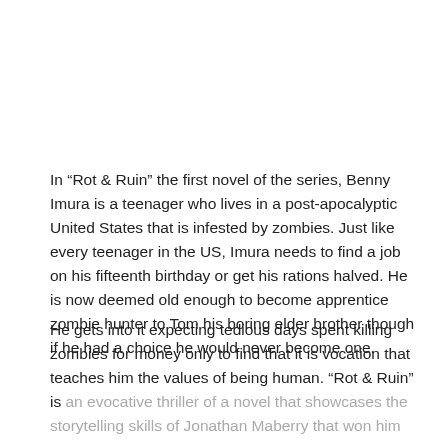In “Rot & Ruin” the first novel of the series, Benny Imura is a teenager who lives in a post-apocalyptic United States that is infested by zombies. Just like every teenager in the US, Imura needs to find a job on his fifteenth birthday or get his rations halved. He is now deemed old enough to become apprentice zombie hunter to Tom his boring elder brother though if he had a choice he would never become one.
He gets into it expecting tedious days spent killing zombies for money only to find that it is vocation that teaches him the values of being human. “Rot & Ruin” is an evocative thriller of a novel that showcases the storytelling skills of Jonathan Maberry that won him